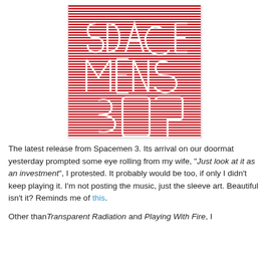[Figure (illustration): Album artwork for Spacemen 3 release. Red and white horizontal striped pattern background with stylized bold lettering spelling 'Spacemen 3' in a decorative, labyrinthine red outline font. Square format with thin border.]
The latest release from Spacemen 3. Its arrival on our doormat yesterday prompted some eye rolling from my wife, "Just look at it as an investment", I protested. It probably would be too, if only I didn't keep playing it. I'm not posting the music, just the sleeve art. Beautiful isn't it? Reminds me of this.
Other than Transparent Radiation and Playing With Fire, I